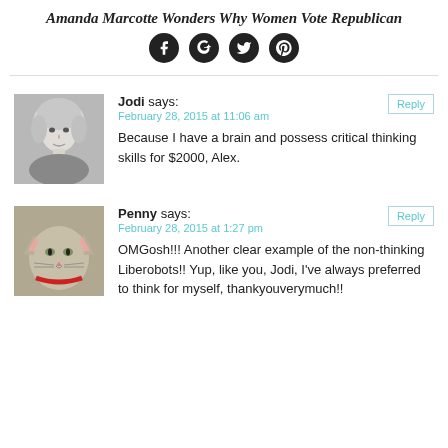Amanda Marcotte Wonders Why Women Vote Republican
[Figure (other): Social media share icons: Facebook, Google+, Twitter, Pinterest]
Jodi says:
February 28, 2015 at 11:06 am
Because I have a brain and possess critical thinking skills for $2000, Alex.
Penny says:
February 28, 2015 at 1:27 pm
OMGosh!!! Another clear example of the non-thinking Liberobots!! Yup, like you, Jodi, I've always preferred to think for myself, thankyouverymuch!!